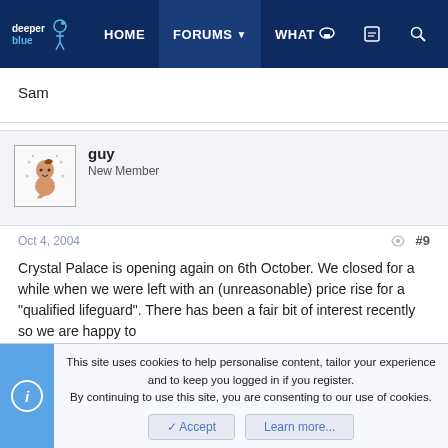deeperblue | HOME | FORUMS | WHAT
Sam
[Figure (illustration): Forum user avatar: cartoon character with brown hair and stars]
guy
New Member
Oct 4, 2004   #9
Crystal Palace is opening again on 6th October. We closed for a while when we were left with an (unreasonable) price rise for a "qualified lifeguard". There has been a fair bit of interest recently so we are happy to
This site uses cookies to help personalise content, tailor your experience and to keep you logged in if you register.
By continuing to use this site, you are consenting to our use of cookies.